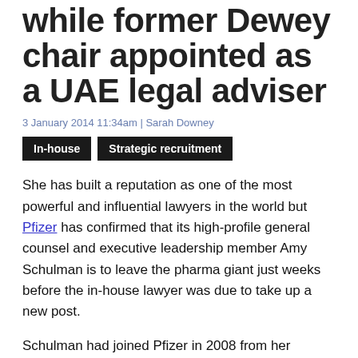while former Dewey chair appointed as a UAE legal adviser
3 January 2014 11:34am | Sarah Downey
In-house
Strategic recruitment
She has built a reputation as one of the most powerful and influential lawyers in the world but Pfizer has confirmed that its high-profile general counsel and executive leadership member Amy Schulman is to leave the pharma giant just weeks before the in-house lawyer was due to take up a new post.
Schulman had joined Pfizer in 2008 from her position as co-head of mass tort and class actions at DLA Piper. The star litigator, who was reportedly responsible for a $60m book of